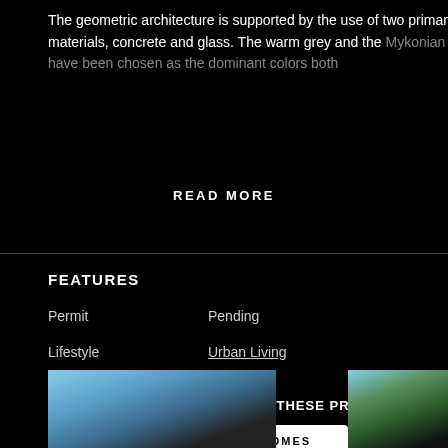The geometric architecture is supported by the use of two primary materials, concrete and glass. The warm grey and the Mykonian white have been chosen as the dominant colors both
READ MORE
FEATURES
Permit	Pending
Lifestyle	Urban Living
YOU MIGHT BE INTERESTED IN THESE PROPERTIES
REGISTER FOR SIMILAR HOMES
[Figure (photo): Cityscape photo with blue sky and clouds]
[Figure (photo): Palm trees with blue sky background]